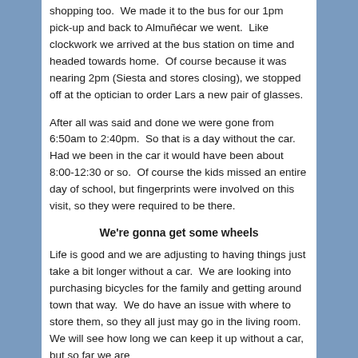shopping too.  We made it to the bus for our 1pm pick-up and back to Almuñécar we went.  Like clockwork we arrived at the bus station on time and headed towards home.  Of course because it was nearing 2pm (Siesta and stores closing), we stopped off at the optician to order Lars a new pair of glasses.
After all was said and done we were gone from 6:50am to 2:40pm.  So that is a day without the car.  Had we been in the car it would have been about 8:00-12:30 or so.  Of course the kids missed an entire day of school, but fingerprints were involved on this visit, so they were required to be there.
We're gonna get some wheels
Life is good and we are adjusting to having things just take a bit longer without a car.  We are looking into purchasing bicycles for the family and getting around town that way.  We do have an issue with where to store them, so they all just may go in the living room.  We will see how long we can keep it up without a car, but so far we are